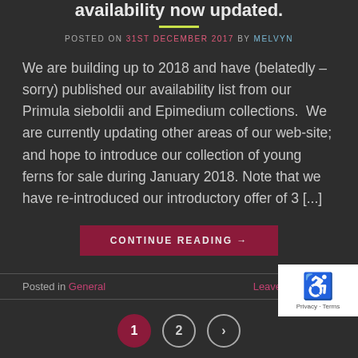availability now updated.
POSTED ON 31ST DECEMBER 2017 BY MELVYN
We are building up to 2018 and have (belatedly – sorry) published our availability list from our Primula sieboldii and Epimedium collections.  We are currently updating other areas of our web-site; and hope to introduce our collection of young ferns for sale during January 2018. Note that we have re-introduced our introductory offer of 3 [...]
CONTINUE READING →
Posted in General    Leave a comment
1  2  >